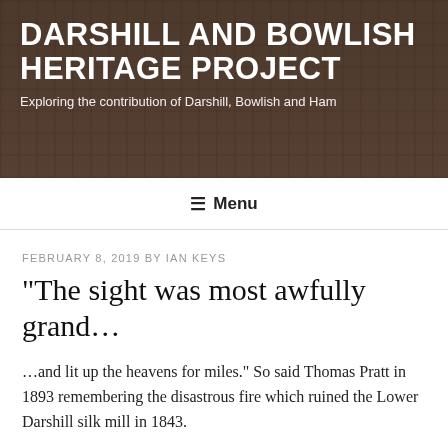[Figure (photo): Sepia-toned historical photograph of a village or town scene with buildings, used as the website header background image.]
DARSHILL AND BOWLISH HERITAGE PROJECT
Exploring the contribution of Darshill, Bowlish and Ham
☰ Menu
FEBRUARY 8, 2019 BY IAN KEYS
“The sight was most awfully grand…
…and lit up the heavens for miles.” So said Thomas Pratt in 1893 remembering the disastrous fire which ruined the Lower Darshill silk mill in 1843.
We shall hear more from him in the next blog, but let’s first look at the factory itself. Owned in 1843 by the local